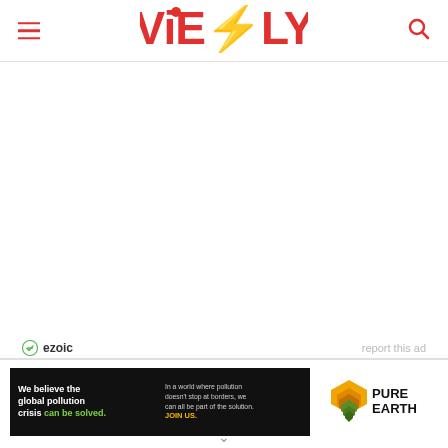ViEBLY
[Figure (logo): Ezoic logo with green circle-check icon and 'ezoic' text in dark color, with 'report this ad' link to the right]
[Figure (infographic): Pure Earth advertisement banner: black background left side reads 'We believe the global pollution crisis can be solved.' in white and green text, right side has Pure Earth logo with layered diamond icon]